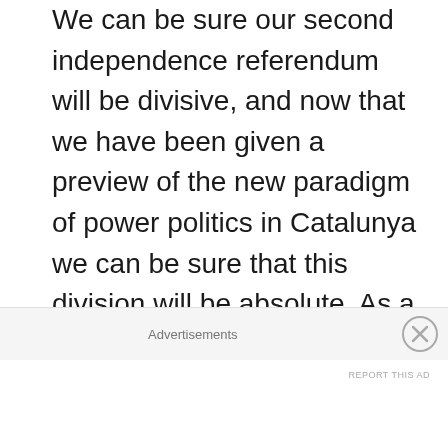We can be sure our second independence referendum will be divisive, and now that we have been given a preview of the new paradigm of power politics in Catalunya we can be sure that this division will be absolute. As a political movement it is high time we independentistas made our peace with this and began to embrace the division as part of the message. People are smart enough to figure this out for themselves, and the longer we pretend this will be a revolution of roses the longer we will be [text cut off]
Advertisements